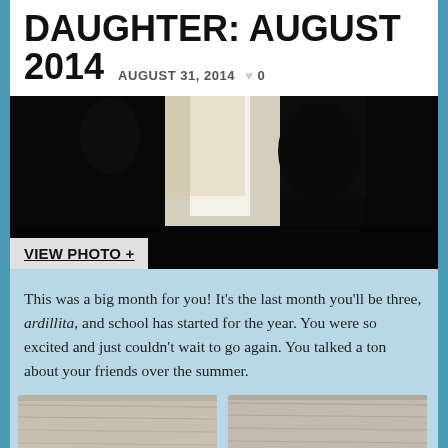DAUGHTER: AUGUST 2014  AUGUST 31, 2014  ♥ 0
[Figure (photo): Dark silhouette of a child/person against a bright window background]
VIEW PHOTO +
This was a big month for you! It's the last month you'll be three, ardillita, and school has started for the year. You were so excited and just couldn't wait to go again. You talked a ton about your friends over the summer.
[Figure (photo): Two small thumbnail photos of what appears to be a wooden floor or surface]